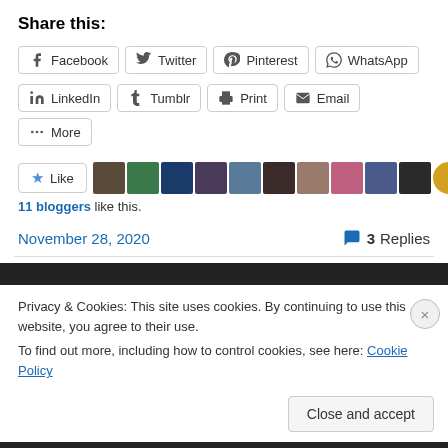Share this:
Facebook
Twitter
Pinterest
WhatsApp
LinkedIn
Tumblr
Print
Email
More
Like
11 bloggers like this.
November 28, 2020
3 Replies
Privacy & Cookies: This site uses cookies. By continuing to use this website, you agree to their use.
To find out more, including how to control cookies, see here: Cookie Policy
Close and accept